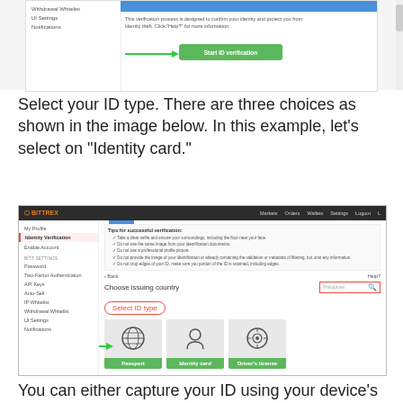[Figure (screenshot): Top portion of Bittrex ID verification page showing a 'Start ID verification' green button with an arrow pointing to it, and text about the verification process.]
Select your ID type. There are three choices as shown in the image below. In this example, let’s select on “Identity card.”
[Figure (screenshot): Bittrex website screenshot showing the Identity Verification page with 'Select ID type' circled in red, and three card options: Passport, Identity card, and Driver's license. An arrow points to the Identity card option.]
You can either capture your ID using your device’s camera or upload it. Follow the prompts after uploading the photo.